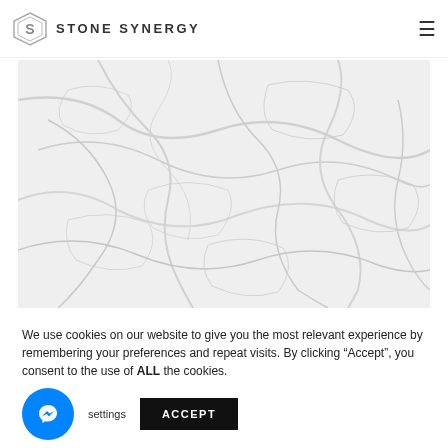STONE SYNERGY
[Figure (photo): White marble texture with grey veining, close-up surface photograph]
We use cookies on our website to give you the most relevant experience by remembering your preferences and repeat visits. By clicking “Accept”, you consent to the use of ALL the cookies.
settings  ACCEPT